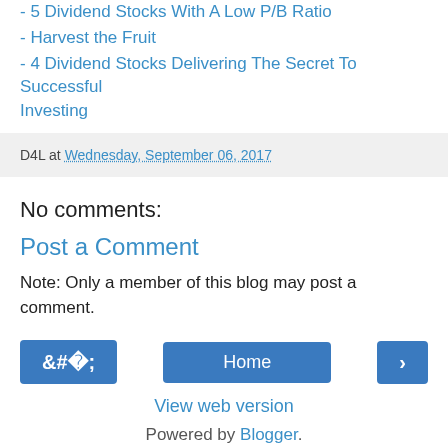- 5 Dividend Stocks With A Low P/B Ratio
- Harvest the Fruit
- 4 Dividend Stocks Delivering The Secret To Successful Investing
D4L at Wednesday, September 06, 2017
No comments:
Post a Comment
Note: Only a member of this blog may post a comment.
Home
View web version
Powered by Blogger.